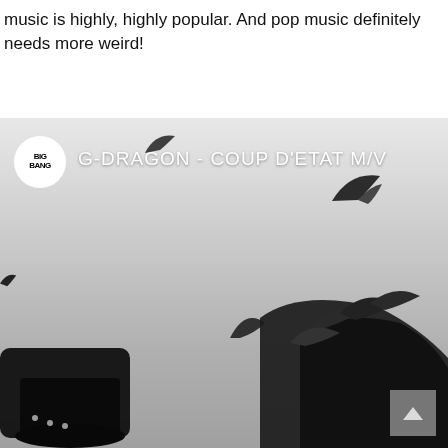music is highly, highly popular. And pop music definitely needs more weird!
[Figure (screenshot): A YouTube music video thumbnail for G-DRAGON - COUP D'ETAT M/V. Dark artistic image showing a figure falling with black feathers/birds scattered in a gray-white atmosphere. BigBang logo circle in upper left, video title overlaid in white text. A scroll-to-top button visible at bottom right.]